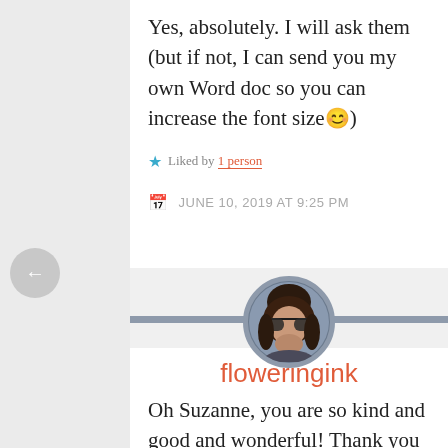Yes, absolutely. I will ask them (but if not, I can send you my own Word doc so you can increase the font size😊)
Liked by 1 person
JUNE 10, 2019 AT 9:25 PM
[Figure (photo): Circular avatar photo of a woman wearing sunglasses, set on a gray divider bar]
floweringink
Oh Suzanne, you are so kind and good and wonderful! Thank you for offering to do this. I am buying